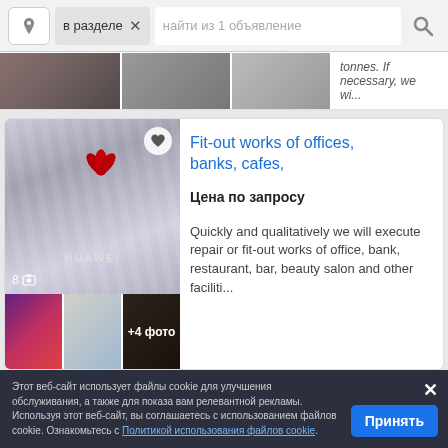[Figure (screenshot): Search bar with location icon, 'в разделе' tag with X, placeholder text 'найти из 1 объявление', and search icon]
[Figure (screenshot): Partial listing card at top with thumbnail image and truncated text 'tonnes. If necessary, we wi...']
Fit-out works of offices, banks, cafes,
Цена по запросу
Quickly and qualitatively we will execute repair or fit-out works of office, bank, restaurant, bar, beauty salon and other faciliti...
[Figure (photo): Huawei office showroom photo with logo, plus thumbnail gallery row showing bar/cafe interiors with '+4 фото' overlay]
Этот веб-сайт использует файлы cookie для улучшения обслуживания, а также для показа вам релевантной рекламы. Используя этот веб-сайт, вы соглашаетесь с использованием файлов cookie. Ознакомьтесь с Политикой использования файлов cookie.